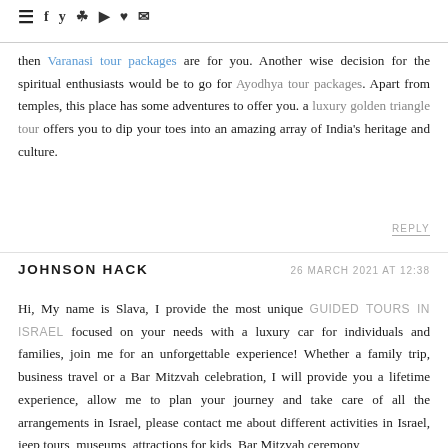≡ f y ◻ ▶ ♥ ✉
then Varanasi tour packages are for you. Another wise decision for the spiritual enthusiasts would be to go for Ayodhya tour packages. Apart from temples, this place has some adventures to offer you. a luxury golden triangle tour offers you to dip your toes into an amazing array of India's heritage and culture.
REPLY
JOHNSON HACK   26 MARCH 2021 AT 12:38
Hi, My name is Slava, I provide the most unique GUIDED TOURS IN ISRAEL focused on your needs with a luxury car for individuals and families, join me for an unforgettable experience! Whether a family trip, business travel or a Bar Mitzvah celebration, I will provide you a lifetime experience, allow me to plan your journey and take care of all the arrangements in Israel, please contact me about different activities in Israel, jeep tours, museums, attractions for kids, Bar Mitzvah ceremony